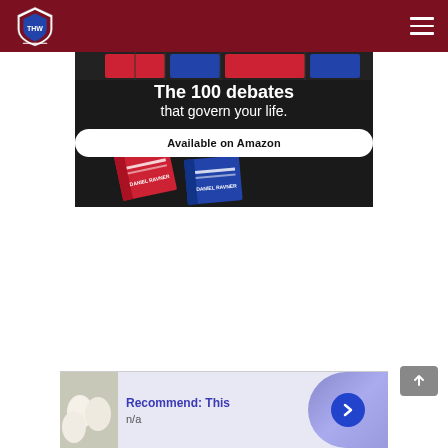THW (Advocate Abroad) site header with logo and hamburger menu
[Figure (illustration): Advertisement banner: dark background with book covers at top and bottom, text 'The 100 debates that govern your life.' and button 'Available on Amazon'. Author name DANIEL RAVNER visible on book spines.]
[Figure (infographic): Bottom recommendation widget: thumbnail of white eggs, text 'Recommend: This' with 'n/a' subtitle, blue circle arrow button on purple gradient background.]